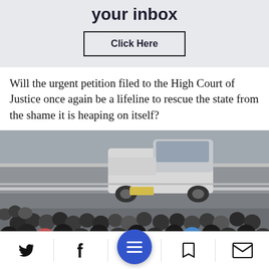your inbox
Click Here
Will the urgent petition filed to the High Court of Justice once again be a lifeline to rescue the state from the shame it is heaping on itself?
[Figure (photo): A white pickup truck driving on a road/bridge, with a large crowd of people gathered on the left side of the road below.]
[Figure (other): Bottom navigation bar with Twitter, Facebook, menu (hamburger in blue circle), bookmark, and email icons.]